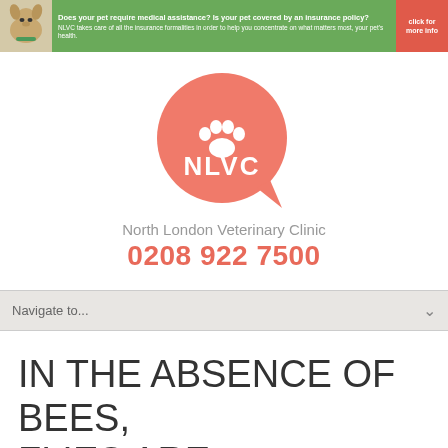[Figure (infographic): Green banner advertisement for NLVC pet insurance with a dog image on the left, text in the middle, and a red 'click for more info' button on the right. Text reads: 'Does your pet require medical assistance? Is your pet covered by an insurance policy? NLVC takes care of all the insurance formalities in order to help you concentrate on what matters most, your pet's health.']
[Figure (logo): NLVC North London Veterinary Clinic logo — a coral/salmon-colored speech bubble shape containing a white paw print icon above the white text 'NLVC']
North London Veterinary Clinic
0208 922 7500
Navigate to...
IN THE ABSENCE OF BEES, FLIES ARE RESPONSIBLE FOR POLLINATION IN THE